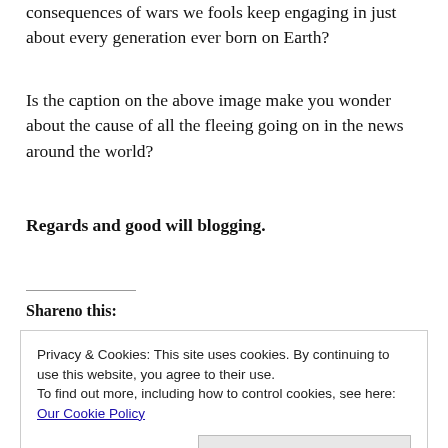consequences of wars we fools keep engaging in just about every generation ever born on Earth?
Is the caption on the above image make you wonder about the cause of all the fleeing going on in the news around the world?
Regards and good will blogging.
Shareno this:
Privacy & Cookies: This site uses cookies. By continuing to use this website, you agree to their use.
To find out more, including how to control cookies, see here: Our Cookie Policy